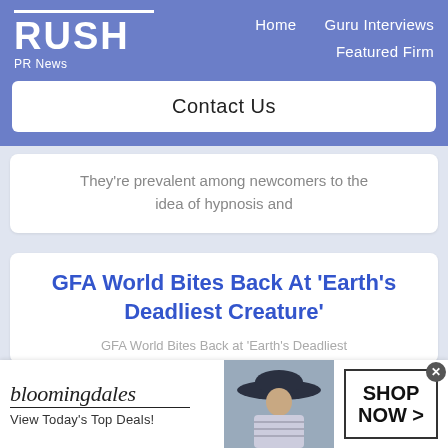RUSH PR News
Home   Guru Interviews   Featured Firm
Contact Us
They're prevalent among newcomers to the idea of hypnosis and
GFA World Bites Back At 'Earth's Deadliest Creature'
GFA World Bites Back at 'Earth's Deadliest
[Figure (screenshot): Bloomingdale's advertisement banner with model in wide-brim hat and Shop Now button]